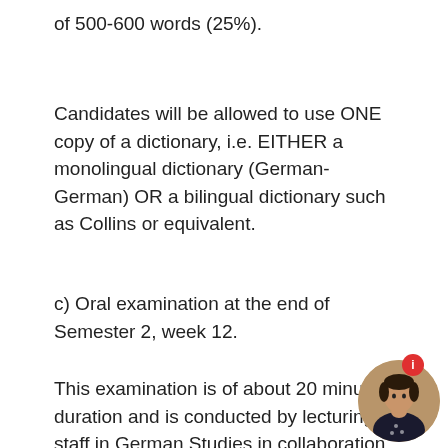of 500-600 words (25%).
Candidates will be allowed to use ONE copy of a dictionary, i.e. EITHER a monolingual dictionary (German-German) OR a bilingual dictionary such as Collins or equivalent.
c) Oral examination at the end of Semester 2, week 12.
This examination is of about 20 minutes' duration and is conducted by lecturing staff in German Studies in collaboration with the external examiners. It consists primarily of a discussion on matters re... to the candidate's studies, although it may range